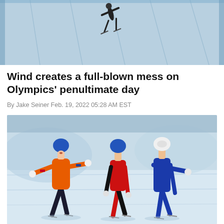[Figure (photo): Top portion of a ski jumper in the air against a light blue icy background]
Wind creates a full-blown mess on Olympics' penultimate day
By Jake Seiner Feb. 19, 2022 05:28 AM EST
[Figure (photo): Speed skaters racing on an indoor oval rink. A skater in orange Dutch suit celebrates with arms out while two other skaters lean forward at finish.]